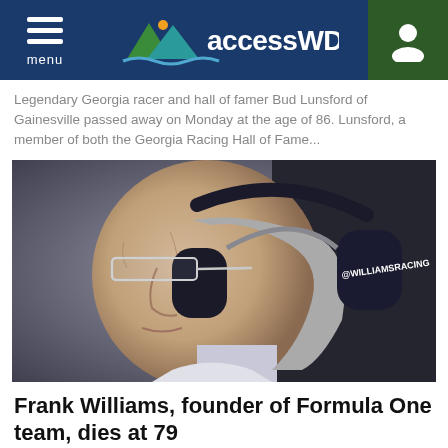accessWDUN
Legendary Georgia racer and hall of famer Bud Lunsford of Gainesville passed away on Monday at the age of 86. Lunsford, a member of both the Georgia Racing Hall of Fame...
[Figure (photo): Close-up profile photo of an elderly man wearing glasses and dark blue @WILLIAMSRACING branded ear protection headphones, looking to the left.]
Frank Williams, founder of Formula One team, dies at 79